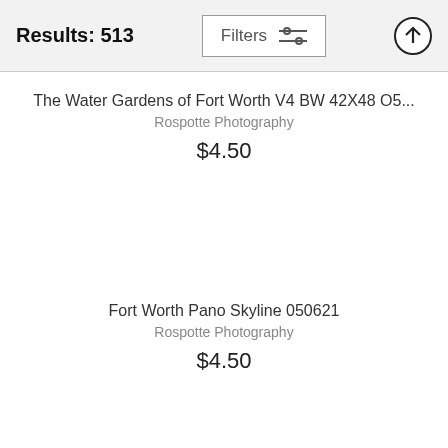Results: 513
The Water Gardens of Fort Worth V4 BW 42X48 O5...
Rospotte Photography
$4.50
Fort Worth Pano Skyline 050621
Rospotte Photography
$4.50
Fort Worth Skyline V3 050621...